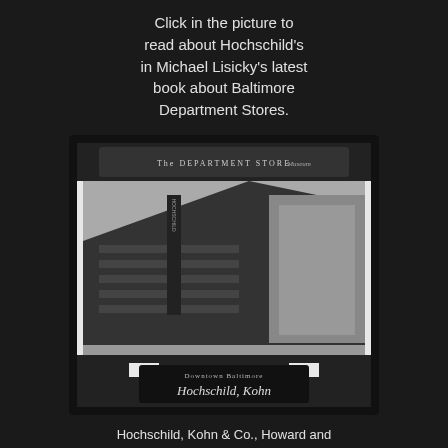Click in the picture to read about Hochschild's in Michael Lisicky's latest book about Baltimore Department Stores.
[Figure (photo): Black and white photograph of Hochschild, Kohn & Co. department store at Howard and Lexington Streets in Downtown Baltimore. The image is framed with a decorative book cover border from 'The Department Store Museum'. The bottom of the cover shows a script logo reading 'Hochschild, Kohn' and text reading 'Downtown Baltimore'.]
Hochschild, Kohn & Co., Howard and Lexington Streets in Baltimore